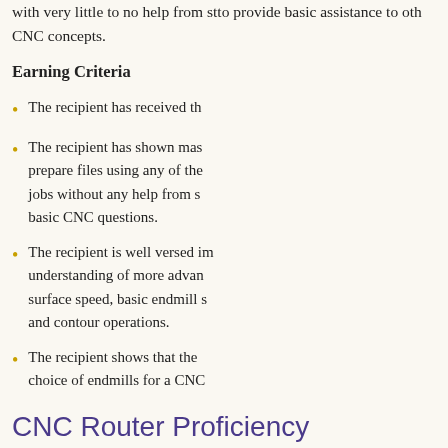with very little to no help from staff, to provide basic assistance to others on CNC concepts.
Earning Criteria
The recipient has received th...
The recipient has shown mas... prepare files using any of the... jobs without any help from s... basic CNC questions.
The recipient is well versed im... understanding of more advan... surface speed, basic endmill s... and contour operations.
The recipient shows that the... choice of endmills for a CNC ...
CNC Router Proficiency